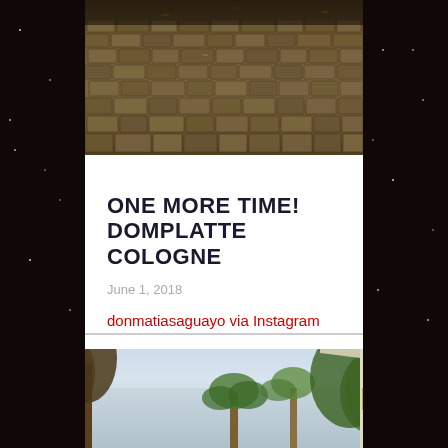[Figure (photo): Top photo of cobblestone pavement/street from an elevated angle, brownish-grey tones]
ONE MORE TIME! DOMPLATTE COLOGNE
June 1, 2018
donmatiasaguayo via Instagram
[Figure (photo): Bottom photo showing urban scene with trees, buildings including a partially visible sign reading KHILL, palm trees, and city structures against a light sky]